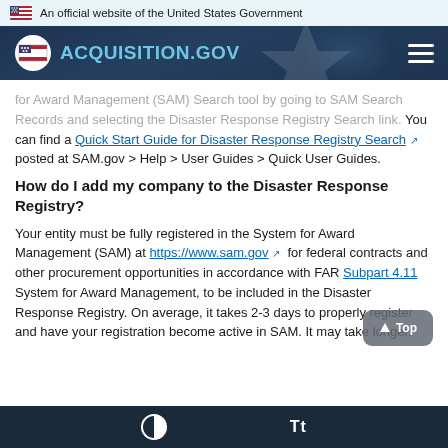An official website of the United States Government
[Figure (logo): ACQUISITION.GOV logo with hamburger menu on dark navy background]
for Award Management (SAM) Search tool by going to SAM Search Records and selecting the Disaster Response Registry Search link. You can find a Quick Start Guide for Disaster Response Registry Search posted at SAM.gov > Help > User Guides > Quick User Guides.
How do I add my company to the Disaster Response Registry?
Your entity must be fully registered in the System for Award Management (SAM) at https://www.sam.gov for federal contracts and other procurement opportunities in accordance with FAR Subpart 4.11 System for Award Management, to be included in the Disaster Response Registry. On average, it takes 2-3 days to properly register and have your registration become active in SAM. It may take longer.
Tt